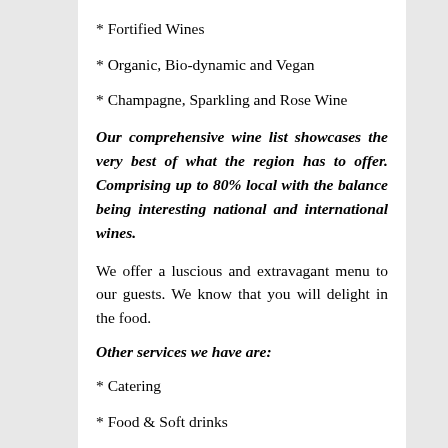* Fortified Wines
* Organic, Bio-dynamic and Vegan
* Champagne, Sparkling and Rose Wine
Our comprehensive wine list showcases the very best of what the region has to offer. Comprising up to 80% local with the balance being interesting national and international wines.
We offer a luscious and extravagant menu to our guests. We know that you will delight in the food.
Other services we have are:
* Catering
* Food & Soft drinks
* Cocktails